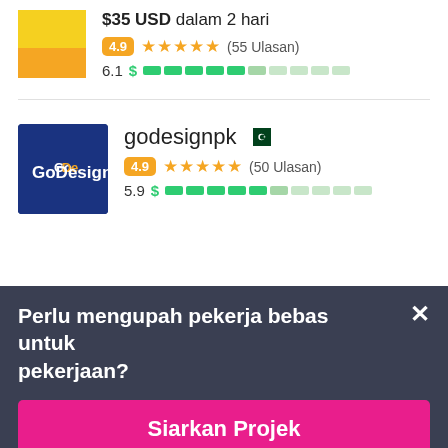$35 USD dalam 2 hari
4.9 ★★★★★ (55 Ulasan)
6.1 $ ██████░░░░
godesignpk 🇵🇰
4.9 ★★★★★ (50 Ulasan)
5.9 $ ██████░░░░
Perlu mengupah pekerja bebas untuk pekerjaan?
Siarkan Projek